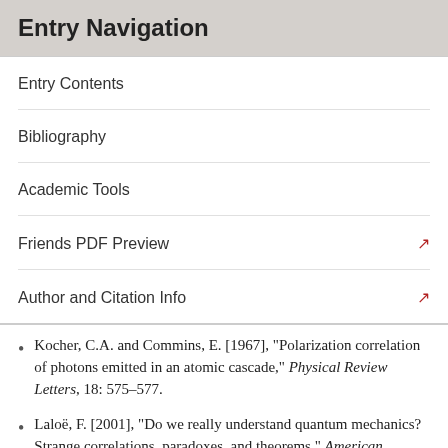Entry Navigation
Entry Contents
Bibliography
Academic Tools
Friends PDF Preview
Author and Citation Info
Kocher, C.A. and Commins, E. [1967], "Polarization correlation of photons emitted in an atomic cascade," Physical Review Letters, 18: 575–577.
Laloë, F. [2001], "Do we really understand quantum mechanics? Strange correlations, paradoxes, and theorems," American Journal of Physics, 69: 655–701.
Lamehi-Rachti, M. and Mittig, W. [1976], "Quantum mechanics and hidden variables: A test